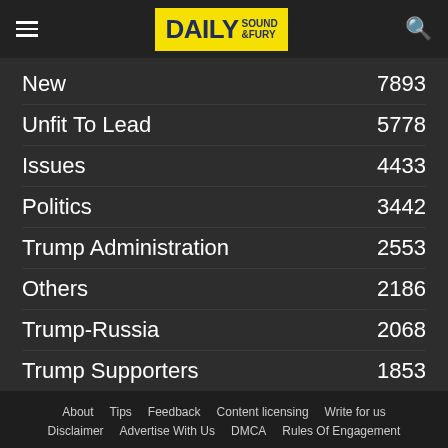DAILY SOUND & FURY
New 7893
Unfit To Lead 5778
Issues 4433
Politics 3442
Trump Administration 2553
Others 2186
Trump-Russia 2068
Trump Supporters 1853
World 932
About  Tips  Feedback  Content licensing  Write for us  Disclaimer  Advertise With Us  DMCA  Rules Of Engagement